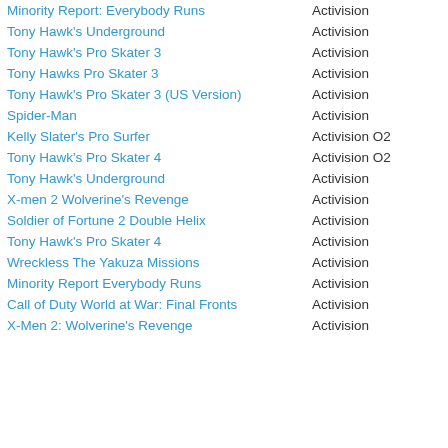Minority Report: Everybody Runs | Activision
Tony Hawk's Underground | Activision
Tony Hawk's Pro Skater 3 | Activision
Tony Hawks Pro Skater 3 | Activision
Tony Hawk's Pro Skater 3 (US Version) | Activision
Spider-Man | Activision
Kelly Slater's Pro Surfer | Activision O2
Tony Hawk's Pro Skater 4 | Activision O2
Tony Hawk's Underground | Activision
X-men 2 Wolverine's Revenge | Activision
Soldier of Fortune 2 Double Helix | Activision
Tony Hawk's Pro Skater 4 | Activision
Wreckless The Yakuza Missions | Activision
Minority Report Everybody Runs | Activision
Call of Duty World at War: Final Fronts | Activision
X-Men 2: Wolverine's Revenge | Activision